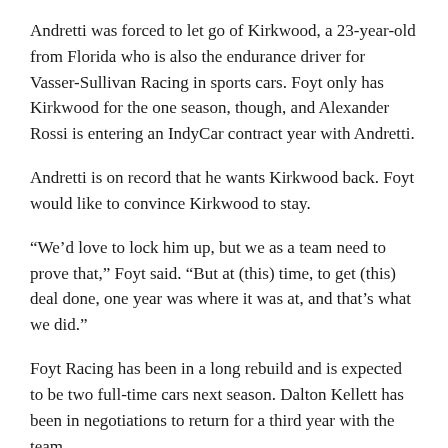Andretti was forced to let go of Kirkwood, a 23-year-old from Florida who is also the endurance driver for Vasser-Sullivan Racing in sports cars. Foyt only has Kirkwood for the one season, though, and Alexander Rossi is entering an IndyCar contract year with Andretti.
Andretti is on record that he wants Kirkwood back. Foyt would like to convince Kirkwood to stay.
“We’d love to lock him up, but we as a team need to prove that,” Foyt said. “But at (this) time, to get (this) deal done, one year was where it was at, and that’s what we did.”
Foyt Racing has been in a long rebuild and is expected to be two full-time cars next season. Dalton Kellett has been in negotiations to return for a third year with the team.